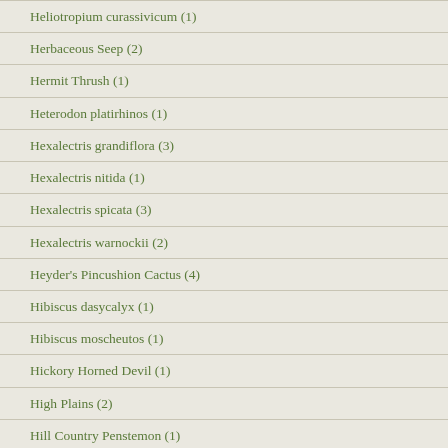Heliotropium curassivicum (1)
Herbaceous Seep (2)
Hermit Thrush (1)
Heterodon platirhinos (1)
Hexalectris grandiflora (3)
Hexalectris nitida (1)
Hexalectris spicata (3)
Hexalectris warnockii (2)
Heyder's Pincushion Cactus (4)
Hibiscus dasycalyx (1)
Hibiscus moscheutos (1)
Hickory Horned Devil (1)
High Plains (2)
Hill Country Penstemon (1)
Himantopus mexicanus (1)